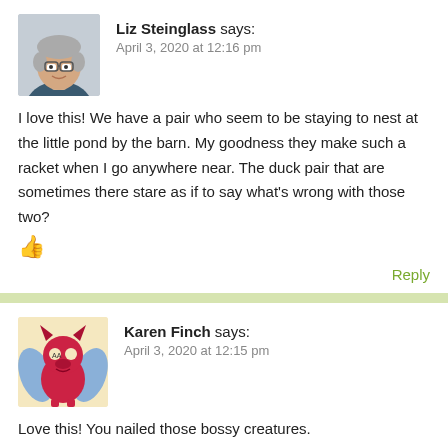[Figure (photo): Avatar photo of Liz Steinglass, older woman with short gray hair and glasses]
Liz Steinglass says:
April 3, 2020 at 12:16 pm
I love this! We have a pair who seem to be staying to nest at the little pond by the barn. My goodness they make such a racket when I go anywhere near. The duck pair that are sometimes there stare as if to say what's wrong with those two?
👍
Reply
[Figure (illustration): Avatar illustration of Karen Finch, cartoon red creature/monster with wings]
Karen Finch says:
April 3, 2020 at 12:15 pm
Love this! You nailed those bossy creatures.
Thanks for this nice treat.